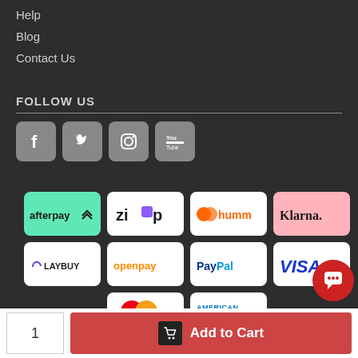Help
Blog
Contact Us
FOLLOW US
[Figure (illustration): Social media icons: Facebook, Twitter, Instagram, YouTube — rounded square grey icons]
[Figure (illustration): Payment method logos grid: afterpay, zip, humm, Klarna, LAYBUY, openpay, PayPal, VISA, MasterCard, AMERICAN EXPRESS]
1
Add to Cart